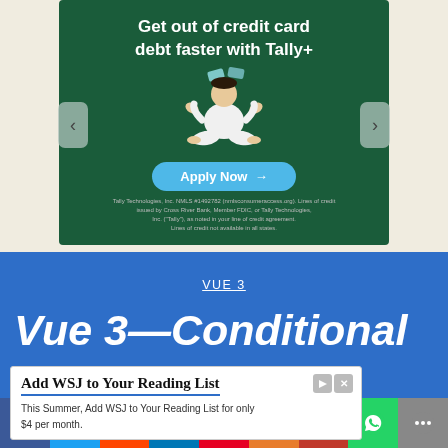[Figure (illustration): Tally+ ad banner with dark green background. Text reads 'Get out of credit card debt faster with Tally+'. Shows illustrated person sitting cross-legged juggling credit cards. 'Apply Now →' button in blue. Legal disclaimer text at bottom. Navigation arrows on sides.]
Tally Technologies, Inc. NMLS #1492782 (nmlsconsumeraccess.org). Lines of credit issued by Cross River Bank, Member FDIC, or Tally Technologies, Inc. ("Tally"), as noted in your line of credit agreement. Lines of credit not available in all states.
VUE 3
Vue 3—Conditional
[Figure (infographic): WSJ advertisement overlay: 'Add WSJ to Your Reading List' with ad icons. Body: 'This Summer, Add WSJ to Your Reading List for only $4 per month.']
[Figure (infographic): Social sharing bar with icons: Facebook, Twitter, Reddit, LinkedIn, Pinterest, MeWe, Mix, WhatsApp, Share]